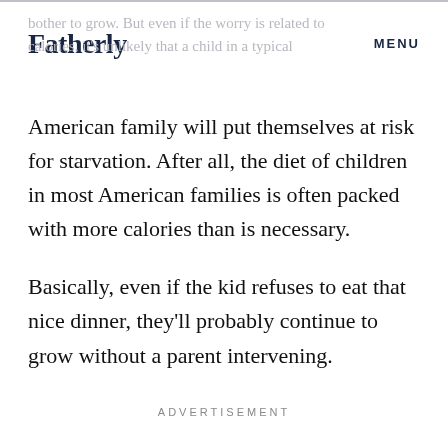Fatherly  MENU
bother to grow. But even if the worry is related to calories, it's unlikely that a child in a typical
American family will put themselves at risk for starvation. After all, the diet of children in most American families is often packed with more calories than is necessary.
Basically, even if the kid refuses to eat that nice dinner, they'll probably continue to grow without a parent intervening.
ADVERTISEMENT